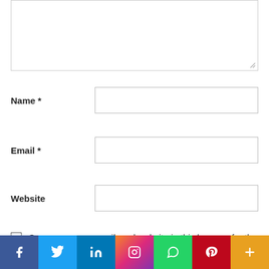[Figure (screenshot): Comment form textarea (empty, resizable)]
Name *
Email *
Website
Save my name, email, and website in this browser for the next time I comment.
[Figure (infographic): Social media share bar with icons: Facebook, Twitter, LinkedIn, Instagram, WhatsApp, Pinterest, More (plus)]